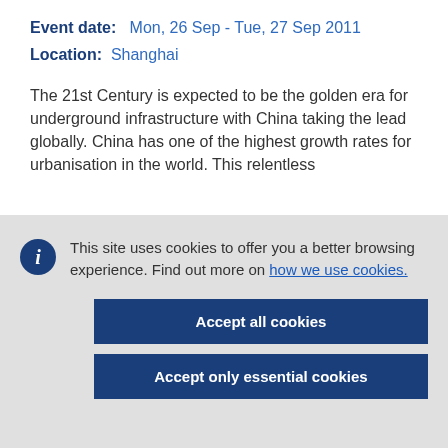Event date:   Mon, 26 Sep - Tue, 27 Sep 2011
Location:   Shanghai
The 21st Century is expected to be the golden era for underground infrastructure with China taking the lead globally. China has one of the highest growth rates for urbanisation in the world. This relentless
This site uses cookies to offer you a better browsing experience. Find out more on how we use cookies.
Accept all cookies
Accept only essential cookies